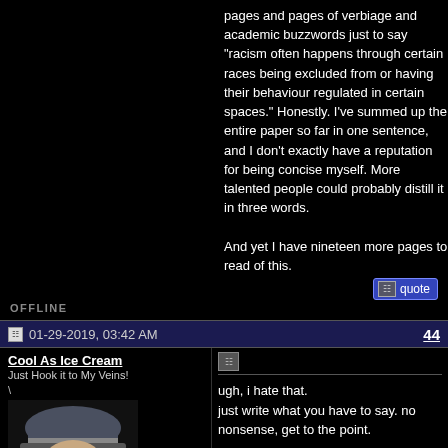pages and pages of verbiage and academic buzzwords just to say "racism often happens through certain races being excluded from or having their behaviour regulated in certain spaces." Honestly. I've summed up the entire paper so far in one sentence, and I don't exactly have a reputation for being concise myself. More talented people could probably distill it in three words.

And yet I have nineteen more pages to read of this.
OFFLINE
01-29-2019, 03:42 AM
44
Cool As Ice Cream
Just Hook it to My Veins!
ugh, i hate that.
just write what you have to say. no nonsense, get to the point.

some students think it's a talent to spread content over a lot of pages. "i'm really good at writing papers."